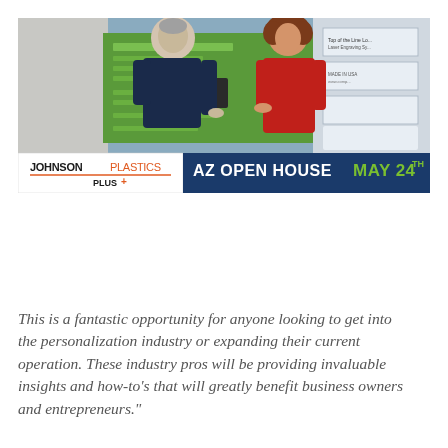[Figure (infographic): Johnson Plastics Plus advertisement banner showing two people in a store/showroom examining a product. Banner text reads 'JOHNSON PLASTICS PLUS' and 'AZ OPEN HOUSE MAY 24TH']
This is a fantastic opportunity for anyone looking to get into the personalization industry or expanding their current operation. These industry pros will be providing invaluable insights and how-to's that will greatly benefit business owners and entrepreneurs."